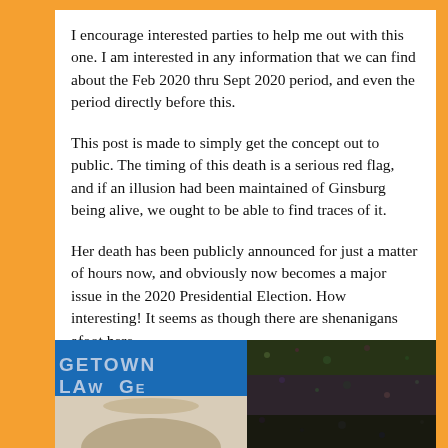I encourage interested parties to help me out with this one. I am interested in any information that we can find about the Feb 2020 thru Sept 2020 period, and even the period directly before this.
This post is made to simply get the concept out to public. The timing of this death is a serious red flag, and if an illusion had been maintained of Ginsburg being alive, we ought to be able to find traces of it.
Her death has been publicly announced for just a matter of hours now, and obviously now becomes a major issue in the 2020 Presidential Election. How interesting! It seems as though there are shenanigans afoot here.
[Figure (photo): Two side-by-side photos at the bottom of the page. Left photo shows a person in front of a Georgetown Law sign on a blue background. Right photo shows a dark, muted image.]